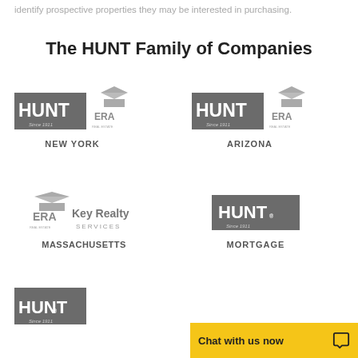identify prospective properties they may be interested in purchasing.
The HUNT Family of Companies
[Figure (logo): HUNT ERA Real Estate logo - NEW YORK]
[Figure (logo): HUNT ERA Real Estate logo - ARIZONA]
[Figure (logo): ERA Key Realty Services logo - MASSACHUSETTS]
[Figure (logo): HUNT Since 1911 logo - MORTGAGE]
[Figure (logo): HUNT Since 1911 logo - bottom partial]
[Figure (other): Chat with us now widget in yellow/gold color]